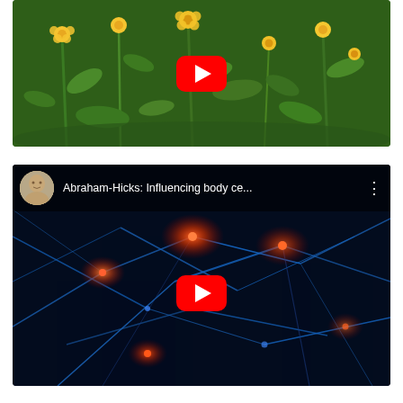[Figure (screenshot): YouTube video thumbnail showing green plants and yellow flowers with a red YouTube play button in the center]
[Figure (screenshot): YouTube video player showing neural network visualization with blue glowing neurons on dark background, titled 'Abraham-Hicks: Influencing body ce...' with a small avatar of a man in white shirt, red YouTube play button in center]